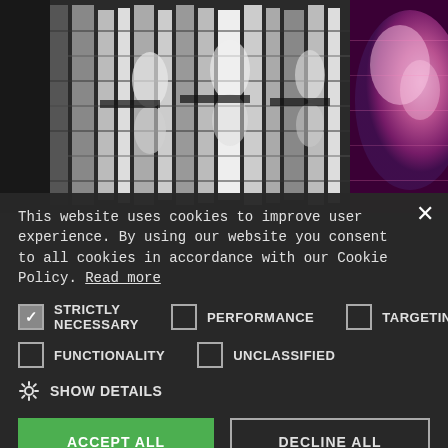[Figure (photo): Medical MRI scan images showing brain/organ cross-sections in grayscale on the left and a colorized anatomical image (purple/pink hues) on the right]
This website uses cookies to improve user experience. By using our website you consent to all cookies in accordance with our Cookie Policy. Read more
STRICTLY NECESSARY (checked), PERFORMANCE (unchecked), TARGETING (unchecked)
FUNCTIONALITY (unchecked), UNCLASSIFIED (unchecked)
SHOW DETAILS
ACCEPT ALL | DECLINE ALL